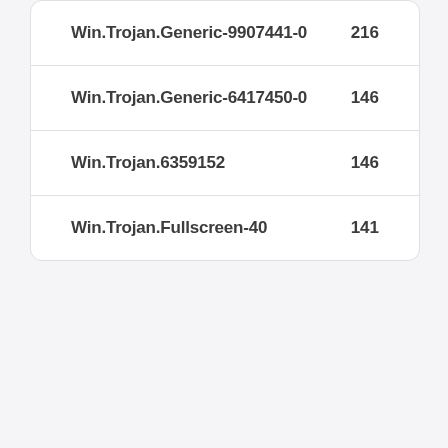| Name | Count |
| --- | --- |
| Win.Trojan.Generic-9907441-0 | 216 |
| Win.Trojan.Generic-6417450-0 | 146 |
| Win.Trojan.6359152 | 146 |
| Win.Trojan.Fullscreen-40 | 141 |